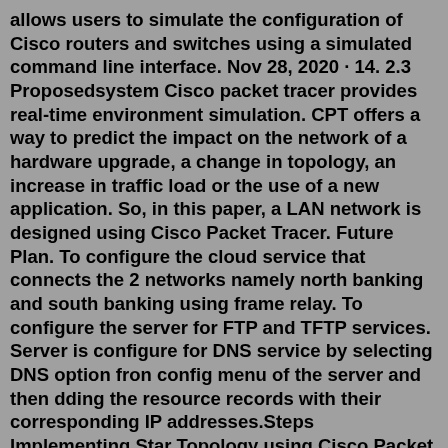allows users to simulate the configuration of Cisco routers and switches using a simulated command line interface. Nov 28, 2020 · 14. 2.3 Proposedsystem Cisco packet tracer provides real-time environment simulation. CPT offers a way to predict the impact on the network of a hardware upgrade, a change in topology, an increase in traffic load or the use of a new application. So, in this paper, a LAN network is designed using Cisco Packet Tracer. Future Plan. To configure the cloud service that connects the 2 networks namely north banking and south banking using frame relay. To configure the server for FTP and TFTP services. Server is configure for DNS service by selecting DNS option fron config menu of the server and then dding the resource records with their corresponding IP addresses.Steps Implementing Star Topology using Cisco Packet Tracer: Step 1: We have taken a switch and linked it to six end devices. Step 2: Link every device with the switch. Step 3: Provide the IP address to each device. Step 4: Transfer message from one device to another and